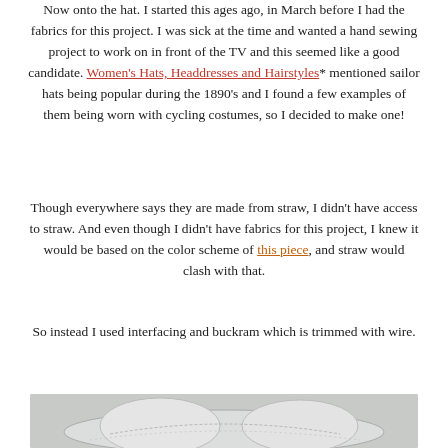Now onto the hat. I started this ages ago, in March before I had the fabrics for this project. I was sick at the time and wanted a hand sewing project to work on in front of the TV and this seemed like a good candidate. Women's Hats, Headdresses and Hairstyles* mentioned sailor hats being popular during the 1890's and I found a few examples of them being worn with cycling costumes, so I decided to make one!
Though everywhere says they are made from straw, I didn't have access to straw. And even though I didn't have fabrics for this project, I knew it would be based on the color scheme of this piece, and straw would clash with that.
So instead I used interfacing and buckram which is trimmed with wire.
[Figure (photo): Photograph of a white fabric sailor hat structure showing the brim and crown with visible stitching and wire trim, partially visible at bottom of page.]